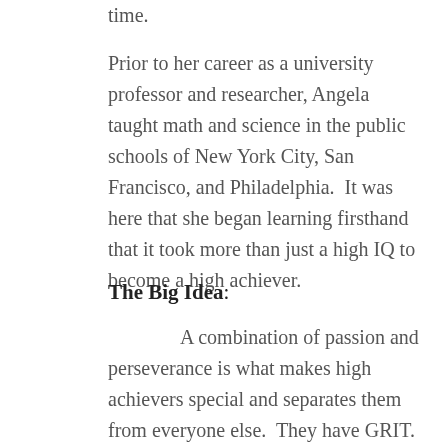time.
Prior to her career as a university professor and researcher, Angela taught math and science in the public schools of New York City, San Francisco, and Philadelphia.  It was here that she began learning firsthand that it took more than just a high IQ to become a high achiever.
The Big Idea:
A combination of passion and perseverance is what makes high achievers special and separates them from everyone else.  They have GRIT.